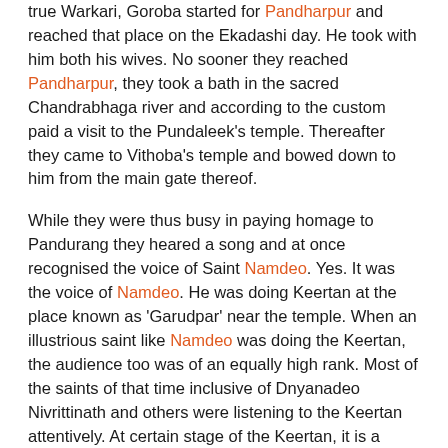true Warkari, Goroba started for Pandharpur and reached that place on the Ekadashi day. He took with him both his wives. No sooner they reached Pandharpur, they took a bath in the sacred Chandrabhaga river and according to the custom paid a visit to the Pundaleek's temple. Thereafter they came to Vithoba's temple and bowed down to him from the main gate thereof.
While they were thus busy in paying homage to Pandurang they heared a song and at once recognised the voice of Saint Namdeo. Yes. It was the voice of Namdeo. He was doing Keertan at the place known as 'Garudpar' near the temple. When an illustrious saint like Namdeo was doing the Keertan, the audience too was of an equally high rank. Most of the saints of that time inclusive of Dnyanadeo Nivrittinath and others were listening to the Keertan attentively. At certain stage of the Keertan, it is a practise of the Haridas (i. e. the person doing the Keertan) to request the audience to perform bhajan and keep the rhythm by clapping. Similarly while the Keertan was in progress Namdeo requested his audience to sing Bhajan and clap. Goroba, like a true devotee, forgot that his hands were chopped off and moved the stumps of his hands emotionally because of